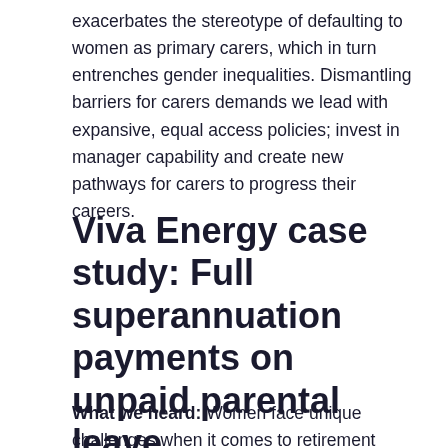exacerbates the stereotype of defaulting to women as primary carers, which in turn entrenches gender inequalities. Dismantling barriers for carers demands we lead with expansive, equal access policies; invest in manager capability and create new pathways for carers to progress their careers.
Viva Energy case study: Full superannuation payments on unpaid parental leave
What we heard: Women face unique challenges when it comes to retirement savings. Statistics show they